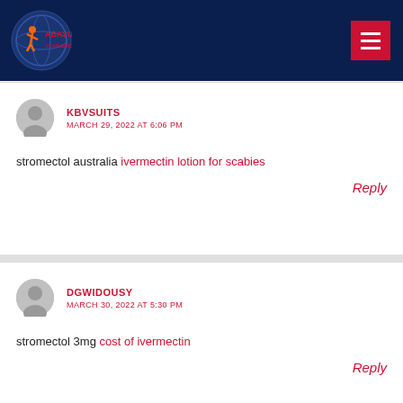ABAYUUTI COMMERCE GROUP
KBVSUITS
MARCH 29, 2022 AT 6:06 PM
stromectol australia ivermectin lotion for scabies
Reply
DGWIDOUSY
MARCH 30, 2022 AT 5:30 PM
stromectol 3mg cost of ivermectin
Reply